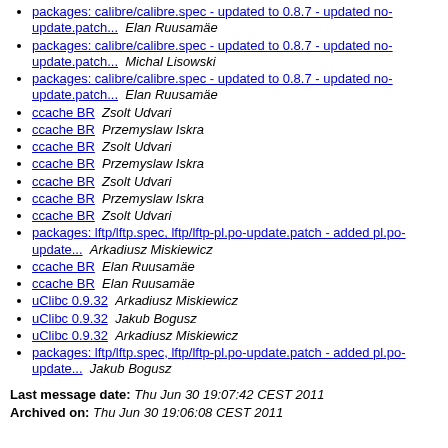packages: calibre/calibre.spec - updated to 0.8.7 - updated no-update.patch...  Elan Ruusamäe
packages: calibre/calibre.spec - updated to 0.8.7 - updated no-update.patch...  Michal Lisowski
packages: calibre/calibre.spec - updated to 0.8.7 - updated no-update.patch...  Elan Ruusamäe
ccache BR  Zsolt Udvari
ccache BR  Przemyslaw Iskra
ccache BR  Zsolt Udvari
ccache BR  Przemyslaw Iskra
ccache BR  Zsolt Udvari
ccache BR  Przemyslaw Iskra
ccache BR  Zsolt Udvari
packages: lftp/lftp.spec, lftp/lftp-pl.po-update.patch - added pl.po-update...  Arkadiusz Miskiewicz
ccache BR  Elan Ruusamäe
ccache BR  Elan Ruusamäe
uClibc 0.9.32  Arkadiusz Miskiewicz
uClibc 0.9.32  Jakub Bogusz
uClibc 0.9.32  Arkadiusz Miskiewicz
packages: lftp/lftp.spec, lftp/lftp-pl.po-update.patch - added pl.po-update...  Jakub Bogusz
Last message date: Thu Jun 30 19:07:42 CEST 2011
Archived on: Thu Jun 30 19:06:08 CEST 2011